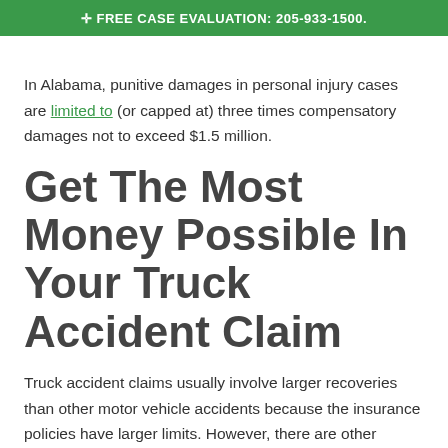✚ FREE CASE EVALUATION: 205-933-1500.
In Alabama, punitive damages in personal injury cases are limited to (or capped at) three times compensatory damages not to exceed $1.5 million.
Get The Most Money Possible In Your Truck Accident Claim
Truck accident claims usually involve larger recoveries than other motor vehicle accidents because the insurance policies have larger limits. However, there are other limitations to consider. Call the lawyers at Belt & Bruner, P.C. for help to obtain the most money possible in your claim. You can reach